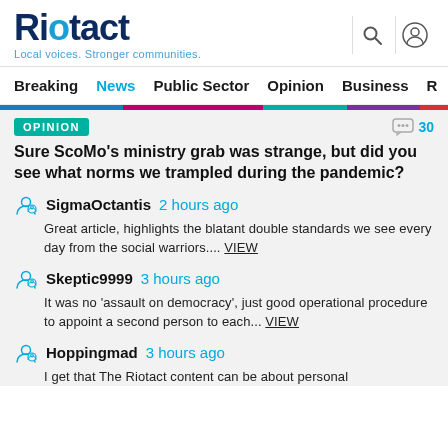Riotact — Local voices. Stronger communities.
Breaking  News  Public Sector  Opinion  Business  R
OPINION  30
Sure ScoMo's ministry grab was strange, but did you see what norms we trampled during the pandemic?
SigmaOctantis  2 hours ago
Great article, highlights the blatant double standards we see every day from the social warriors.... VIEW
Skeptic9999  3 hours ago
It was no 'assault on democracy', just good operational procedure to appoint a second person to each... VIEW
Hoppingmad  3 hours ago
I get that The Riotact content can be about personal